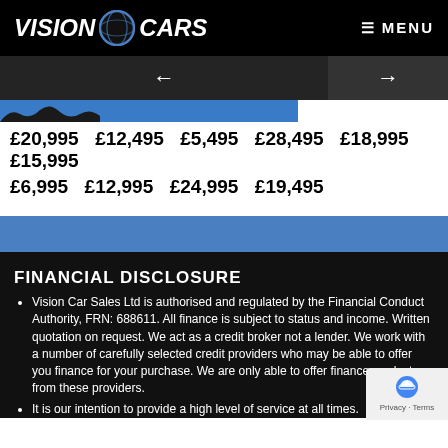VISION CARS  ≡ MENU
← →
£20,995  £12,495  £5,495  £28,495  £18,995  £15,995
£6,995  £12,995  £24,995  £19,495
FINANCIAL DISCLOSURE
Vision Car Sales Ltd is authorised and regulated by the Financial Conduct Authority, FRN: 688611. All finance is subject to status and income. Written quotation on request. We act as a credit broker not a lender. We work with a number of carefully selected credit providers who may be able to offer you finance for your purchase. We are only able to offer finance products from these providers.
It is our intention to provide a high level of service at all times.